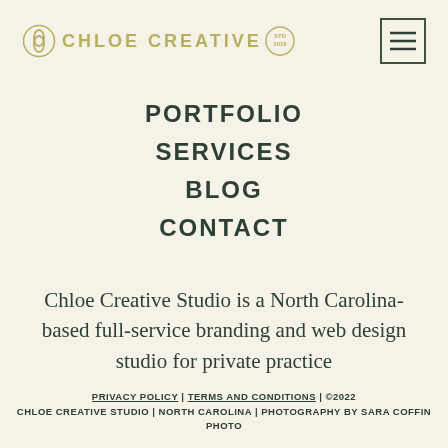CHLOE CREATIVE STUDIO
PORTFOLIO
SERVICES
BLOG
CONTACT
Chloe Creative Studio is a North Carolina-based full-service branding and web design studio for private practice
PRIVACY POLICY | TERMS AND CONDITIONS | ©2022 CHLOE CREATIVE STUDIO | NORTH CAROLINA | PHOTOGRAPHY BY SARA COFFIN PHOTO